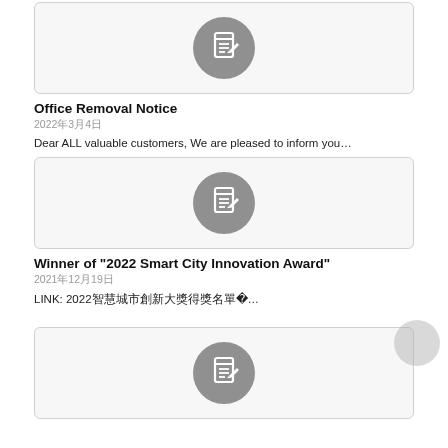[Figure (screenshot): Card with gray pencil/edit icon in a rounded rectangle]
Office Removal Notice
2022年3月4日
Dear ALL valuable customers, We are pleased to inform you…
[Figure (screenshot): Card with gray pencil/edit icon in a rounded rectangle]
Winner of "2022 Smart City Innovation Award"
2021年12月19日
LINK: 2022智慧城市創新大獎得獎名單 …
[Figure (screenshot): Card with gray pencil/edit icon in a rounded rectangle]